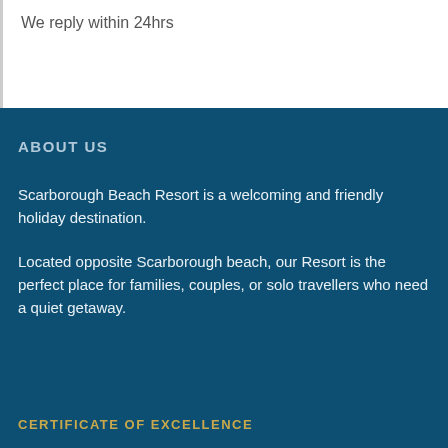We reply within 24hrs
ABOUT US
Scarborough Beach Resort is a welcoming and friendly holiday destination.
Located opposite Scarborough beach, our Resort is the perfect place for families, couples, or solo travellers who need a quiet getaway.
CERTIFICATE OF EXCELLENCE